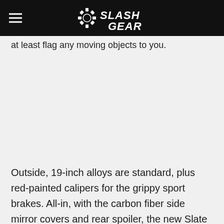SlashGear
at least flag any moving objects to you.
Outside, 19-inch alloys are standard, plus red-painted calipers for the grippy sport brakes. All-in, with the carbon fiber side mirror covers and rear spoiler, the new Slate Grey paint, illuminated kick plates, and the Cargo